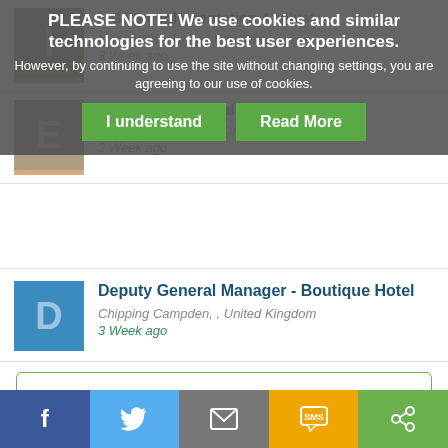PLEASE NOTE! We use cookies and similar technologies for the best user experiences.
However, by continuing to use the site without changing settings, you are agreeing to our use of cookies.
I understand
Read More
1 GPS Implementation Analyst
Electro-Mechanical Test Engineer
3 Week ago
Deputy General Manager - Boutique Hotel
Chipping Campden, , United Kingdom
3 Week ago
view all jobs from company